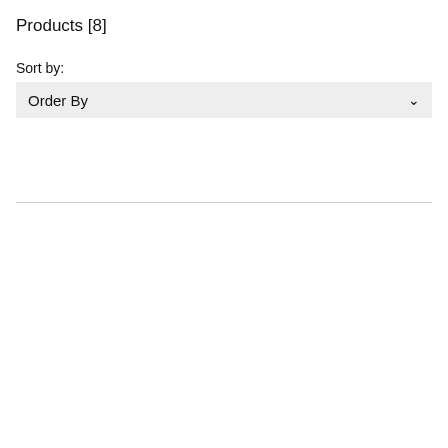Products [8]
Sort by:
[Figure (screenshot): A dropdown selector UI element with label 'Order By' and a downward chevron arrow on the right, on a light grey background.]